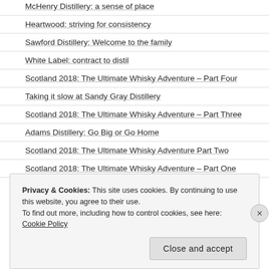McHenry Distillery: a sense of place
Heartwood: striving for consistency
Sawford Distillery: Welcome to the family
White Label: contract to distil
Scotland 2018: The Ultimate Whisky Adventure – Part Four
Taking it slow at Sandy Gray Distillery
Scotland 2018: The Ultimate Whisky Adventure – Part Three
Adams Distillery: Go Big or Go Home
Scotland 2018: The Ultimate Whisky Adventure Part Two
Scotland 2018: The Ultimate Whisky Adventure – Part One
Privacy & Cookies: This site uses cookies. By continuing to use this website, you agree to their use. To find out more, including how to control cookies, see here: Cookie Policy